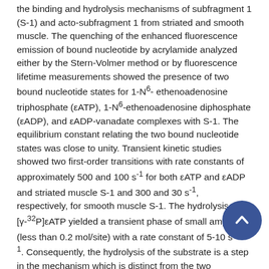the binding and hydrolysis mechanisms of subfragment 1 (S-1) and acto-subfragment 1 from striated and smooth muscle. The quenching of the enhanced fluorescence emission of bound nucleotide by acrylamide analyzed either by the Stern-Volmer method or by fluorescence lifetime measurements showed the presence of two bound nucleotide states for 1-N6-ethenoadenosine triphosphate (εATP), 1-N6-ethenoadenosine diphosphate (εADP), and εADP-vanadate complexes with S-1. The equilibrium constant relating the two bound nucleotide states was close to unity. Transient kinetic studies showed two first-order transitions with rate constants of approximately 500 and 100 s-1 for both εATP and εADP and striated muscle S-1 and 300 and 30 s-1, respectively, for smooth muscle S-1. The hydrolysis of [γ-32P]εATP yielded a transient phase of small amplitude (less than 0.2 mol/site) with a rate constant of 5-10 s-1. Consequently, the hydrolysis of the substrate is a step in the mechanism which is distinct from the two conformational changes induced by the binding of εATP. An essentially symmetric reaction mechanism is proposed in which two structural changes accompany substrate binding and the reversal of these steps occurs in product release. εATP dissociates acto-S-1 as effectively as ATP. For smooth muscle acto-S-1, dissociation proceeds in two steps, each accompanied by